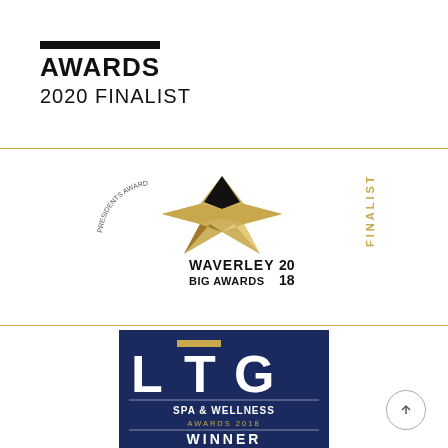[Figure (logo): Awards 2020 Finalist badge with bold AWARDS text and '2020 FINALIST' below]
[Figure (logo): Cranleigh Chamber Presidents Award - Waverley Big Awards 2018 Finalist badge with gold star logo]
[Figure (logo): LTG Spa & Wellness Awards 2018 Winner badge on dark navy blue background]